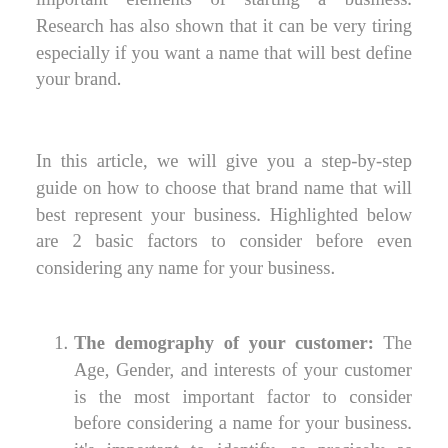important elements of starting a business. Research has also shown that it can be very tiring especially if you want a name that will best define your brand.
In this article, we will give you a step-by-step guide on how to choose that brand name that will best represent your business. Highlighted below are 2 basic factors to consider before even considering any name for your business.
The demography of your customer: The Age, Gender, and interests of your customer is the most important factor to consider before considering a name for your business. it's important to identify, as precisely as possible, who your customers are, before